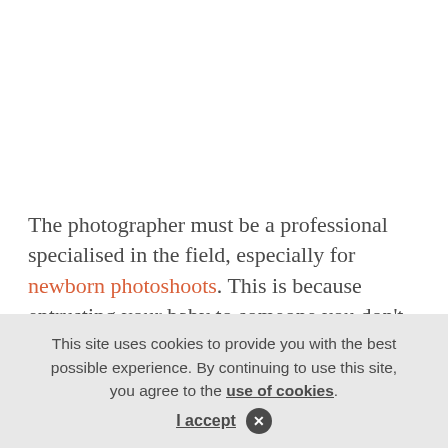The photographer must be a professional specialised in the field, especially for newborn photoshoots. This is because entrusting your baby to someone you don't know is not always easy. It is important to put your baby's safety first.
This site uses cookies to provide you with the best possible experience. By continuing to use this site, you agree to the use of cookies. I accept ✕